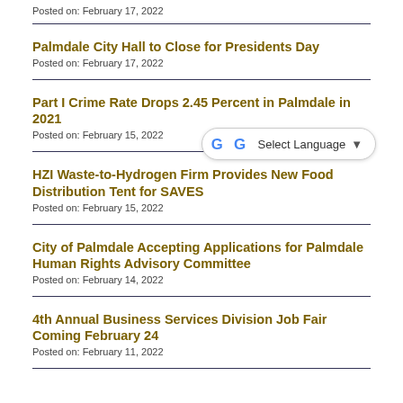Posted on: February 17, 2022
Palmdale City Hall to Close for Presidents Day
Posted on: February 17, 2022
Part I Crime Rate Drops 2.45 Percent in Palmdale in 2021
Posted on: February 15, 2022
HZI Waste-to-Hydrogen Firm Provides New Food Distribution Tent for SAVES
Posted on: February 15, 2022
City of Palmdale Accepting Applications for Palmdale Human Rights Advisory Committee
Posted on: February 14, 2022
4th Annual Business Services Division Job Fair Coming February 24
Posted on: February 11, 2022